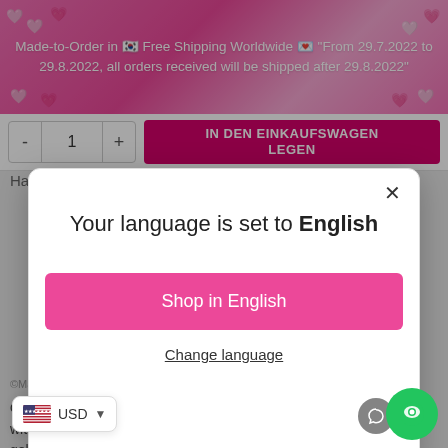Made-to-Order in 🇰🇷 Free Shipping Worldwide 💌 "From 29.7.2022 to 29.8.2022, all orders received will be shipped after 29.8.2022"
Harper's Bazaar and Dazed & Confused
Your language is set to English
Shop in English
Change language
©Maiden Art ORIGINAL Design. All Rights Reserved.
ce about this Handmade statement ne with black pearls, Swarovski crystals, rhinestones gold, silver, rose gold plated brass.? Don't be. Let our
USD
IN DEN EINKAUFSWAGEN LEGEN